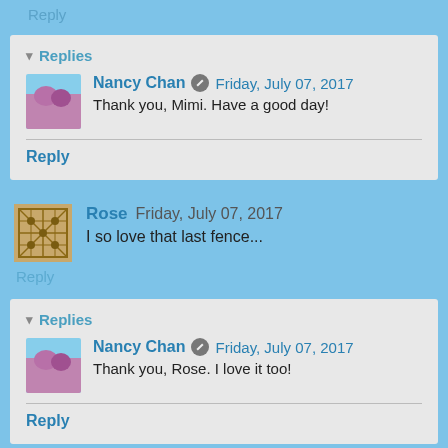Reply
▾ Replies
Nancy Chan  Friday, July 07, 2017
Thank you, Mimi. Have a good day!
Reply
Rose  Friday, July 07, 2017
I so love that last fence...
Reply
▾ Replies
Nancy Chan  Friday, July 07, 2017
Thank you, Rose. I love it too!
Reply